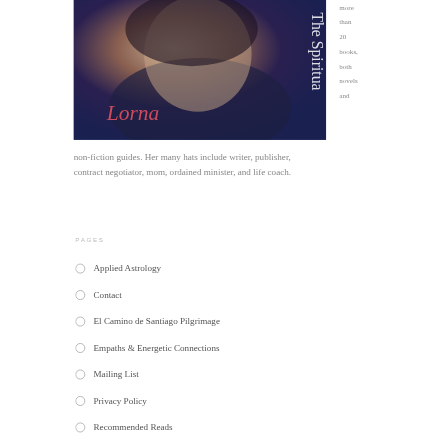[Figure (photo): Book cover showing a woman with dark hair smiling, with text 'Lorna' and 'The Spiritua...' overlaid on a dark navy background]
more than 20 books, both novels and non-fiction guides. Her many hats include writer, publisher, contract negotiator, mom, ordained minister, and life coach.
PAGES
Applied Astrology
Contact
El Camino de Santiago Pilgrimage
Empaths & Energetic Connections
Mailing List
Privacy Policy
Recommended Reads